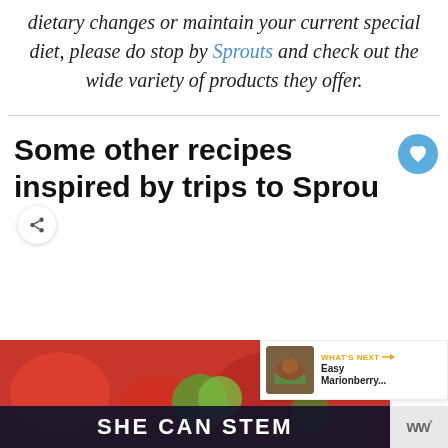dietary changes or maintain your current special diet, please do stop by Sprouts and check out the wide variety of products they offer.
Some other recipes inspired by trips to Sprou...
[Figure (screenshot): Bottom portion showing a food image with red and green colors, overlaid with 'SHE CAN STEM' text in white on dark background, and a 'WHAT'S NEXT → Easy Marionberry...' callout with thumbnail on the right, plus a WW logo.]